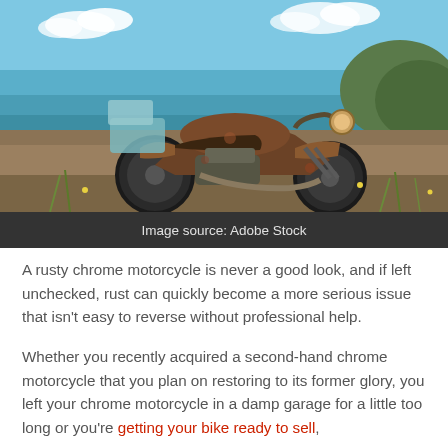[Figure (photo): A rusty old chrome motorcycle parked on dry grass near a rocky coastal shoreline with blue sea and sky in the background.]
Image source: Adobe Stock
A rusty chrome motorcycle is never a good look, and if left unchecked, rust can quickly become a more serious issue that isn't easy to reverse without professional help.
Whether you recently acquired a second-hand chrome motorcycle that you plan on restoring to its former glory, you left your chrome motorcycle in a damp garage for a little too long or you're getting your bike ready to sell,